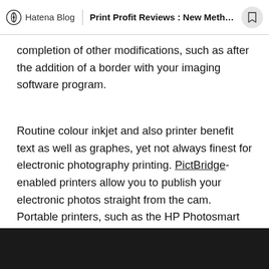Hatena Blog | Print Profit Reviews : New Method ...
completion of other modifications, such as after the addition of a border with your imaging software program.
Routine colour inkjet and also printer benefit text as well as graphes, yet not always finest for electronic photography printing. PictBridge-enabled printers allow you to publish your electronic photos straight from the cam. Portable printers, such as the HP Photosmart 320 collection, permit you to take a picture and print 4x6 inch sized photos anywhere on the relocation.